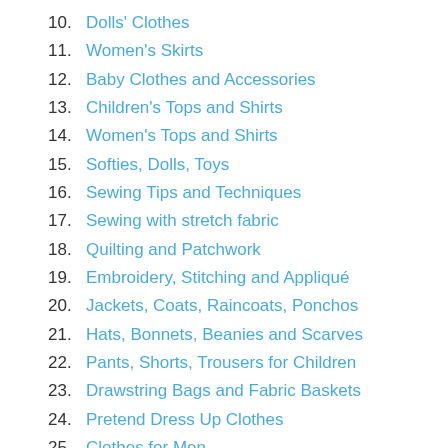10. Dolls' Clothes
11. Women's Skirts
12. Baby Clothes and Accessories
13. Children's Tops and Shirts
14. Women's Tops and Shirts
15. Softies, Dolls, Toys
16. Sewing Tips and Techniques
17. Sewing with stretch fabric
18. Quilting and Patchwork
19. Embroidery, Stitching and Appliqué
20. Jackets, Coats, Raincoats, Ponchos
21. Hats, Bonnets, Beanies and Scarves
22. Pants, Shorts, Trousers for Children
23. Drawstring Bags and Fabric Baskets
24. Pretend Dress Up Clothes
25. Clothes for Men
26. Kitchen Accessories
27. Swimwear